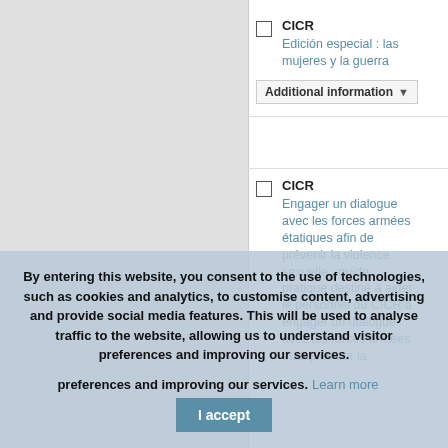CICR
Edición especial : las mujeres y la guerra
Additional information
CICR
Engager un dialogue avec les forces armées étatiques afin de prévenir la violence sexuelle : guide pratique destiné à aider le personnel du CICR à engager un dialogue avec les forces armées étatiques sur la
By entering this website, you consent to the use of technologies, such as cookies and analytics, to customise content, advertising and provide social media features. This will be used to analyse traffic to the website, allowing us to understand visitor preferences and improving our services. Learn more
I accept